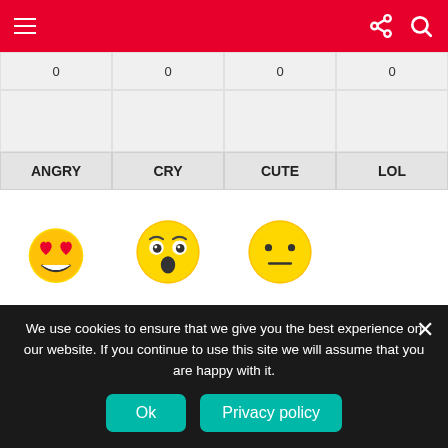Navigation bar with menu, share, and search icons
| ANGRY | CRY | CUTE | LOL |
| --- | --- | --- | --- |
| 0 | 0 | 0 | 0 |
[Figure (illustration): Three emoji faces: heart-eyes (love), shocked/surprised, and neutral expression]
| LOVE | OMG | WTF |
| --- | --- | --- |
| 0 | 0 | 0 |
We use cookies to ensure that we give you the best experience on our website. If you continue to use this site we will assume that you are happy with it.
Ok
Privacy policy